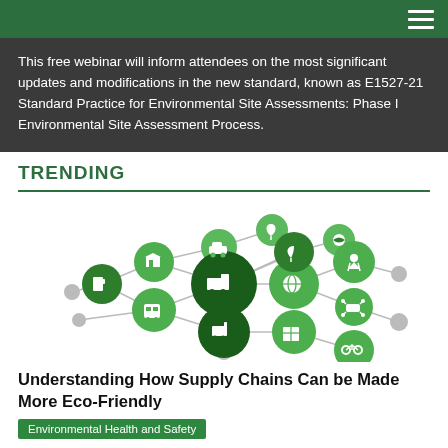This free webinar will inform attendees on the most significant updates and modifications in the new standard, known as E1527-21 Standard Practice for Environmental Site Assessments: Phase I Environmental Site Assessment Process.
TRENDING
[Figure (infographic): Network infographic showing green circles with white icons representing various supply chain and eco-friendly transport/logistics elements (truck, forklift, bicycle, tram, drone, car, leaf/nature icons, globe) connected by gray lines on a white background.]
Understanding How Supply Chains Can be Made More Eco-Friendly
Environmental Health and Safety